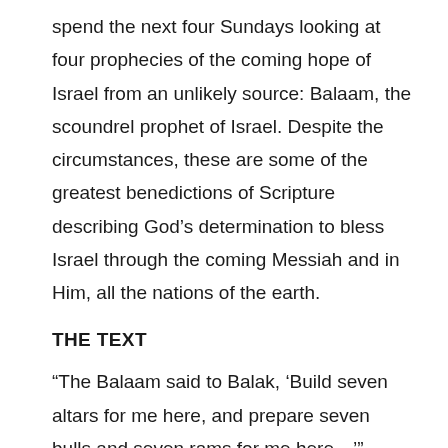spend the next four Sundays looking at four prophecies of the coming hope of Israel from an unlikely source: Balaam, the scoundrel prophet of Israel. Despite the circumstances, these are some of the greatest benedictions of Scripture describing God's determination to bless Israel through the coming Messiah and in Him, all the nations of the earth.
THE TEXT
“The Balaam said to Balak, ‘Build seven altars for me here, and prepare seven bulls and seven rams for me here…’” (Num. 23:1–13)